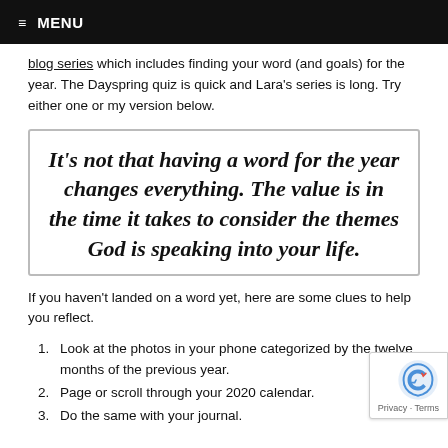≡ MENU
blog series which includes finding your word (and goals) for the year. The Dayspring quiz is quick and Lara's series is long. Try either one or my version below.
It's not that having a word for the year changes everything. The value is in the time it takes to consider the themes God is speaking into your life.
If you haven't landed on a word yet, here are some clues to help you reflect.
Look at the photos in your phone categorized by the twelve months of the previous year.
Page or scroll through your 2020 calendar.
Do the same with your journal.